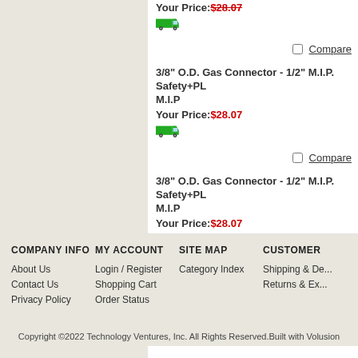Your Price: [strikethrough price] (partial, top)
3/8" O.D. Gas Connector - 1/2" M.I.P. Safety+PL... M.I.P
Your Price:$28.07
Compare
3/8" O.D. Gas Connector - 1/2" M.I.P. Safety+PL... M.I.P
Your Price:$28.07
Compare
COMPANY INFO | MY ACCOUNT | SITE MAP | CUSTOMER
About Us | Login / Register | Category Index | Shipping & De...
Contact Us | Shopping Cart | | Returns & Ex...
Privacy Policy | Order Status
Copyright ©2022 Technology Ventures, Inc. All Rights Reserved. Built with Volusion